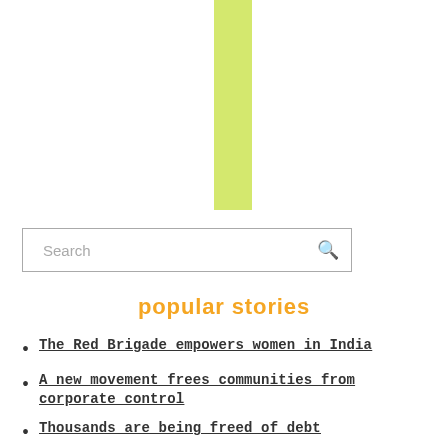[Figure (other): A vertical yellow-green bar logo element centered horizontally at the top of the page]
[Figure (other): Search input box with magnifying glass icon]
popular stories
The Red Brigade empowers women in India
A new movement frees communities from corporate control
Thousands are being freed of debt